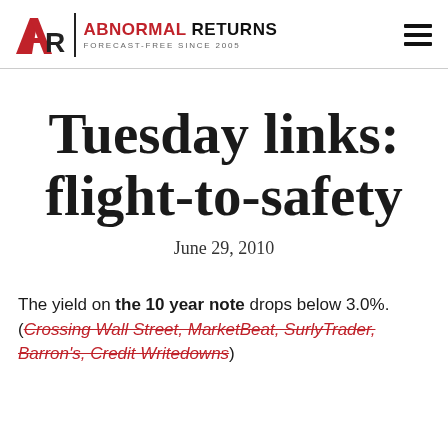ABNORMAL RETURNS — FORECAST-FREE SINCE 2005
Tuesday links: flight-to-safety
June 29, 2010
The yield on the 10 year note drops below 3.0%. (Crossing Wall Street, MarketBeat, SurlyTrader, Barron's, Credit Writedowns)